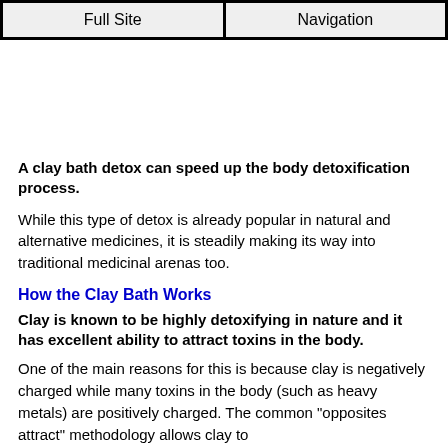Full Site | Navigation
[Figure (other): Advertisement banner space (blank white area)]
A clay bath detox can speed up the body detoxification process.
While this type of detox is already popular in natural and alternative medicines, it is steadily making its way into traditional medicinal arenas too.
How the Clay Bath Works
Clay is known to be highly detoxifying in nature and it has excellent ability to attract toxins in the body.
One of the main reasons for this is because clay is negatively charged while many toxins in the body (such as heavy metals) are positively charged. The common "opposites attract" methodology allows clay to